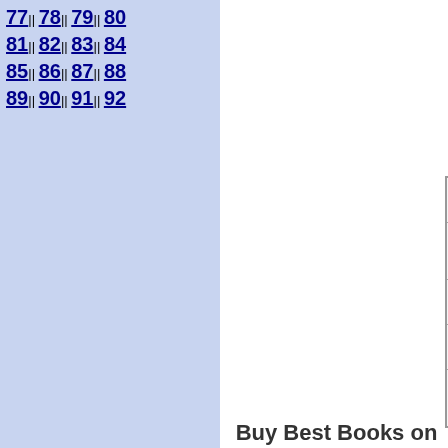77|| 78|| 79|| 80 81|| 82|| 83|| 84 85|| 86|| 87|| 88 89|| 90|| 91|| 92
| Book 1 | Book 2 | Book 3(partial) |
| --- | --- | --- |
| ClassicRussian Cooking Elena Molokhovets | Please to the Table Anya Von Bremzen | LittleRuss... Cookbook... Tania Alex... |
| Famous Russian Recipes, Margaret Calvin | TheCuisine of Caucasus Mountain Kay Shaw Nelson | RussianC... Tatiana Ob... |
| Russianfood for pleasure Ruth Lowinsky | Recipesfrom the Russians Margaret H. Koehle | ThePrac... Encyclope... East Euro... |
| Caviarwith Champagne Jukka Gronow | Tastesand Tales From Russia, Alla Danishevsky | The Bes... Ukrainian Cuisine, B... Zahny |
| TheRussian Heritage Cookbook, Lynn Visson | TheBest of Russian Cooking, Alexandra Kropotkin | RussianRe... Recipes S... Ward |
Buy Best Books on